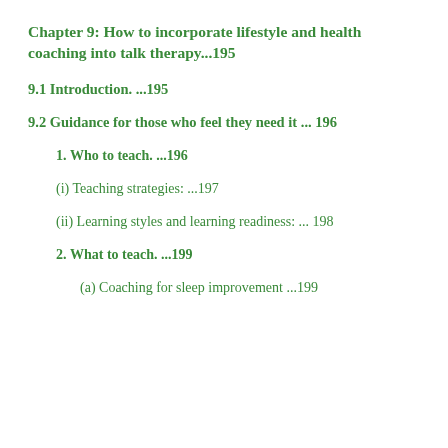Chapter 9: How to incorporate lifestyle and health coaching into talk therapy...195
9.1 Introduction. ...195
9.2 Guidance for those who feel they need it ... 196
1. Who to teach. ...196
(i) Teaching strategies: ...197
(ii) Learning styles and learning readiness: ... 198
2. What to teach. ...199
(a) Coaching for sleep improvement ...199